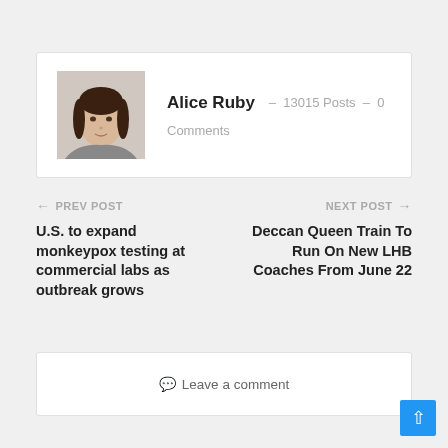[Figure (photo): Author profile photo of Alice Ruby, a woman with dark brown hair]
Alice Ruby – 13015 Posts – 0 Comments
← PREV POST
U.S. to expand monkeypox testing at commercial labs as outbreak grows
NEXT POST →
Deccan Queen Train To Run On New LHB Coaches From June 22
💬 Leave a comment